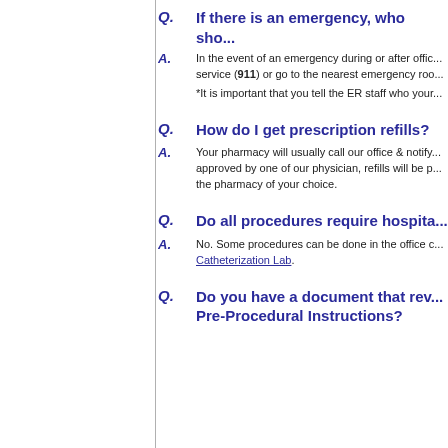Q. If there is an emergency, who sho...
A. In the event of an emergency during or after office service (911) or go to the nearest emergency roo...
*It is important that you tell the ER staff who your...
Q. How do I get prescription refills?
A. Your pharmacy will usually call our office & notify approved by one of our physician, refills will be p... the pharmacy of your choice.
Q. Do all procedures require hospita...
A. No. Some procedures can be done in the office c... Catheterization Lab.
Q. Do you have a document that rev... Pre-Procedural Instructions?